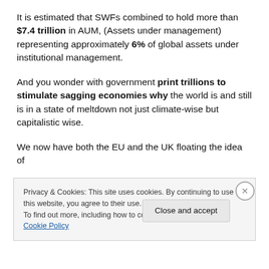It is estimated that SWFs combined to hold more than $7.4 trillion in AUM, (Assets under management) representing approximately 6% of global assets under institutional management.
And you wonder with government print trillions to stimulate sagging economies why the world is and still is in a state of meltdown not just climate-wise but capitalistic wise.
We now have both the EU and the UK floating the idea of
Privacy & Cookies: This site uses cookies. By continuing to use this website, you agree to their use.
To find out more, including how to control cookies, see here: Cookie Policy